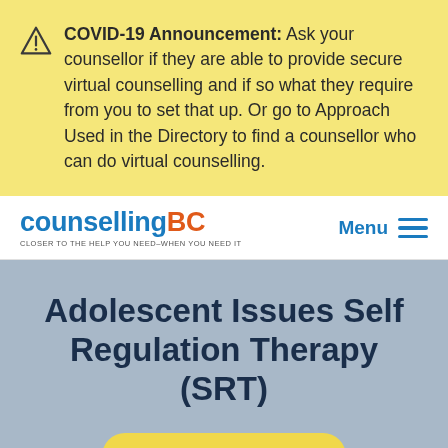COVID-19 Announcement: Ask your counsellor if they are able to provide secure virtual counselling and if so what they require from you to set that up. Or go to Approach Used in the Directory to find a counsellor who can do virtual counselling.
[Figure (logo): CounsellingBC logo with tagline: CLOSER TO THE HELP YOU NEED–WHEN YOU NEED IT]
Adolescent Issues Self Regulation Therapy (SRT)
View your results below